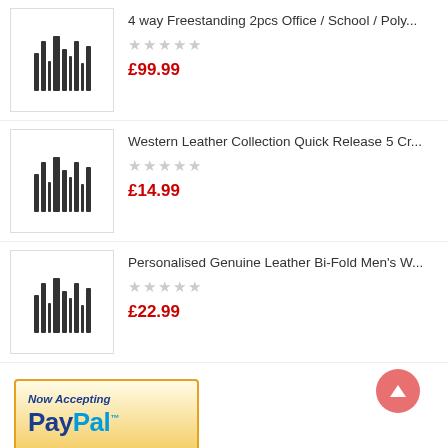[Figure (other): Product listing item 1: placeholder image with barcode-like icon, title '4 way Freestanding 2pcs Office / School / Poly...', 0 star rating, price £99.99]
[Figure (other): Product listing item 2: placeholder image with barcode-like icon, title 'Western Leather Collection Quick Release 5 Cr...', 0 star rating, price £14.99]
[Figure (other): Product listing item 3: placeholder image with barcode-like icon, title 'Personalised Genuine Leather Bi-Fold Men's W...', 0 star rating, price £22.99]
[Figure (logo): PayPal 'Now Accepting PayPal' banner with golden gradient border]
GARMIN VIRB HD